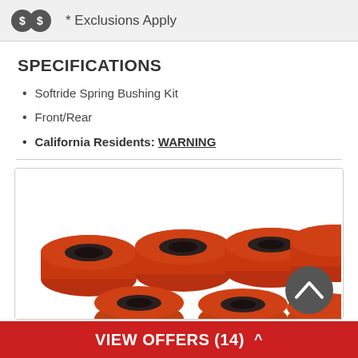[Figure (infographic): Two dark dollar sign circles with text '* Exclusions Apply' on a grey background banner]
SPECIFICATIONS
Softride Spring Bushing Kit
Front/Rear
California Residents: WARNING
[Figure (photo): Multiple red/brown polyurethane spring bushings (bushing kit pieces) arranged on white background, with dark holes in center]
VIEW OFFERS (14)